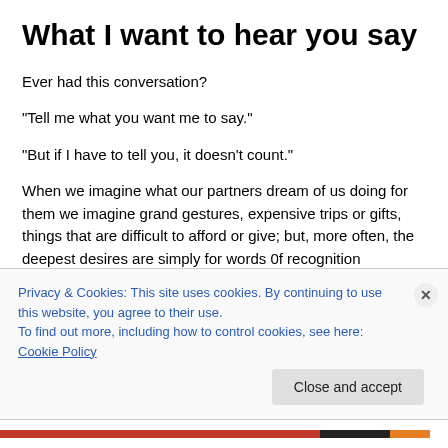What I want to hear you say
Ever had this conversation?
“Tell me what you want me to say.”
“But if I have to tell you, it doesn't count.”
When we imagine what our partners dream of us doing for them we imagine grand gestures, expensive trips or gifts, things that are difficult to afford or give; but, more often, the deepest desires are simply for words 0f recognition
Privacy & Cookies: This site uses cookies. By continuing to use this website, you agree to their use.
To find out more, including how to control cookies, see here: Cookie Policy
Close and accept